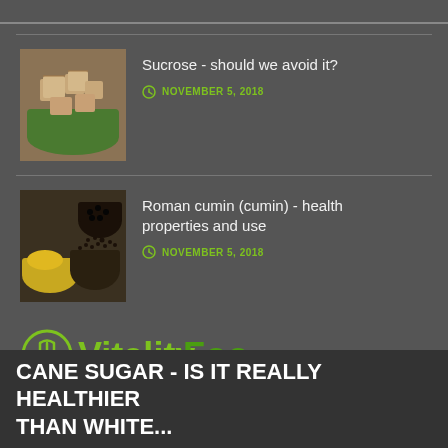[Figure (photo): Brown sugar cubes in a green bowl]
Sucrose - should we avoid it?
NOVEMBER 5, 2018
[Figure (photo): Various spices including turmeric and cumin seeds in bowls]
Roman cumin (cumin) - health properties and use
NOVEMBER 5, 2018
[Figure (logo): Vitality Food logo with fork icon]
CANE SUGAR - IS IT REALLY HEALTHIER THAN WHITE...